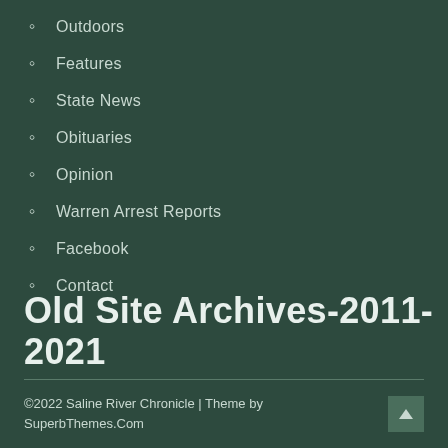Outdoors
Features
State News
Obituaries
Opinion
Warren Arrest Reports
Facebook
Contact
Old Site Archives-2011-2021
©2022 Saline River Chronicle | Theme by SuperbThemes.Com